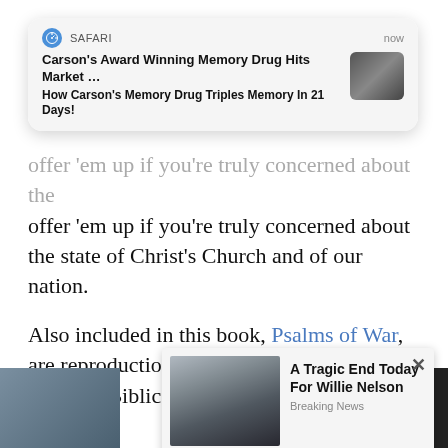[Figure (screenshot): Safari push notification banner showing: SAFARI | now | 'Carson's Award Winning Memory Drug Hits Market ...' | 'How Carson's Memory Drug Triples Memory In 21 Days!' with thumbnail image]
offer ‘em up if you’re truly concerned about the state of Christ’s Church and of our nation.
Also included in this book, Psalms of War, are reproductions of the author’s original art from his Biblical Badass Series of oil paintings.
This is a great gift for the prayer warriors. Real. Raw.
[Figure (screenshot): Ad popup with X close button showing Willie Nelson image and text: 'A Tragic End Today For Willie Nelson' with 'Breaking News' subtext]